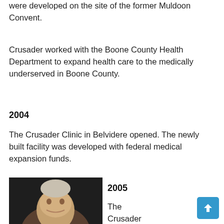The Muldoon Grove community gardens were developed on the site of the former Muldoon Convent.
Crusader worked with the Boone County Health Department to expand health care to the medically underserved in Boone County.
2004
The Crusader Clinic in Belvidere opened. The newly built facility was developed with federal medical expansion funds.
[Figure (photo): Portrait photo of an older man with grey/white hair against a dark background]
2005
The Crusader Board of Directors